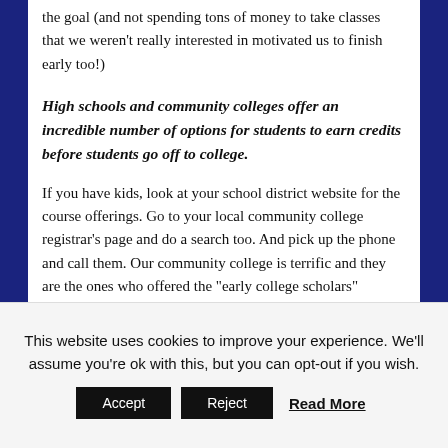the goal (and not spending tons of money to take classes that we weren’t really interested in motivated us to finish early too!)
High schools and community colleges offer an incredible number of options for students to earn credits before students go off to college.
If you have kids, look at your school district website for the course offerings. Go to your local community college registrar’s page and do a search too. And pick up the phone and call them. Our community college is terrific and they are the ones who offered the “early college scholars” financial award. You can also look into earning
This website uses cookies to improve your experience. We’ll assume you’re ok with this, but you can opt-out if you wish. Accept Reject Read More